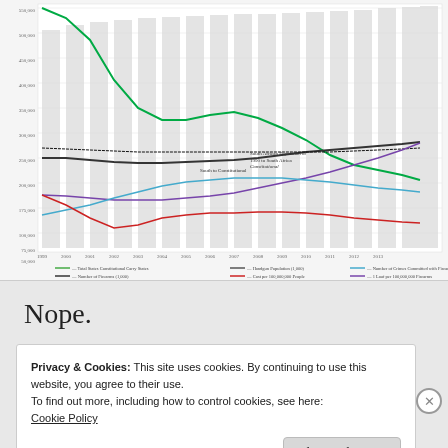[Figure (line-chart): Multi-series line chart with bar chart overlay showing trends from approximately 1999 to 2013. Series include: Total States Constitutional Carry Status, Number of Firearms (1,000), Handgun Population (1,000), Cost per 100,000,000 People, Number of Crimes Committed with Firearms, Cost per 100,000,000 Firearms. Lines in green, black, dark gray, purple, cyan/blue, and red. Bars in light gray in background.]
Nope.
Privacy & Cookies: This site uses cookies. By continuing to use this website, you agree to their use.
To find out more, including how to control cookies, see here:
Cookie Policy
Close and accept